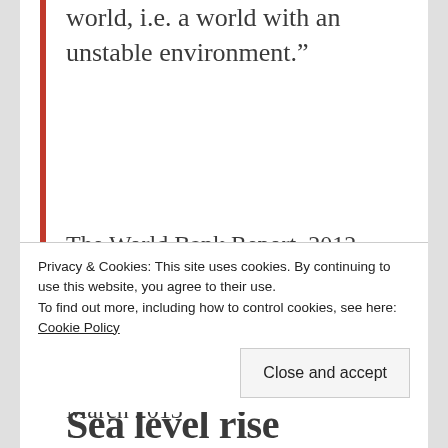world, i.e. a world with an unstable environment.”
The World Bank Report, 2012, quoted by Tom Giesen in his article How We’re making a Frankenstein’s Monster of our Climate, Informed Comment, 31 March 2013
Privacy & Cookies: This site uses cookies. By continuing to use this website, you agree to their use.
To find out more, including how to control cookies, see here: Cookie Policy
Sea level rise